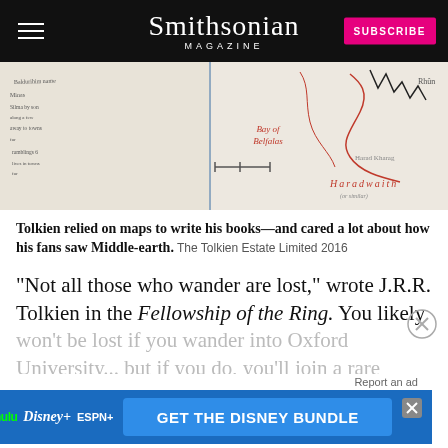Smithsonian MAGAZINE
[Figure (map): A hand-drawn map of Middle-earth showing Bay of Belfalas, Haradwaith and other regions with red and pencil markings and handwritten notes.]
Tolkien relied on maps to write his books—and cared a lot about how his fans saw Middle-earth. The Tolkien Estate Limited 2016
“Not all those who wander are lost,” wrote J.R.R. Tolkien in the Fellowship of the Ring. You likely won’t be lost if you wander into Oxford University... but if you do, you’ll join a rare fellowship of people who